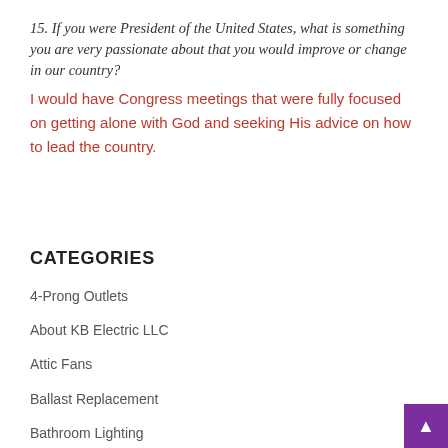15. If you were President of the United States, what is something you are very passionate about that you would improve or change in our country?
I would have Congress meetings that were fully focused on getting alone with God and seeking His advice on how to lead the country.
CATEGORIES
4-Prong Outlets
About KB Electric LLC
Attic Fans
Ballast Replacement
Bathroom Lighting
Bollard Lights
Cable Outlet Installation